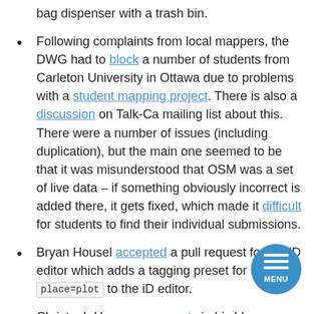bag dispenser with a trash bin.
Following complaints from local mappers, the DWG had to block a number of students from Carleton University in Ottawa due to problems with a student mapping project. There is also a discussion on Talk-Ca mailing list about this. There were a number of issues (including duplication), but the main one seemed to be that it was misunderstood that OSM was a set of live data – if something obviously incorrect is added there, it gets fixed, which made it difficult for students to find their individual submissions.
Bryan Housel accepted a pull request for the iD editor which adds a tagging preset for place=plot to the iD editor.
Christoph Hormann presents in his blog a replacement for the name=* tag a concept in which only name:*=* is recorded and the boundary